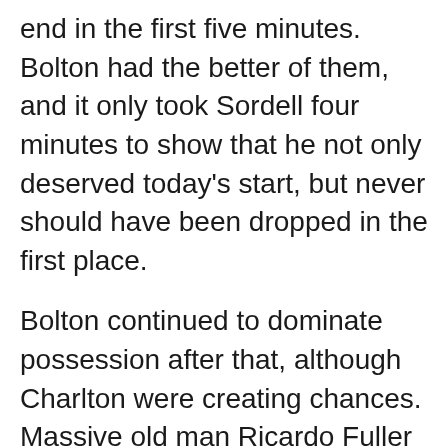end in the first five minutes. Bolton had the better of them, and it only took Sordell four minutes to show that he not only deserved today's start, but never should have been dropped in the first place.
Bolton continued to dominate possession after that, although Charlton were creating chances. Massive old man Ricardo Fuller was causing Wanderers some trouble, and captain Johnnie Jackson was looking especially dangerous. But David Ngog was looking dangerous for Bolton, and when his shot was deflected on the 20th minute it fell to Medo Kamara, and he repaid Freedman for the start by scoring off the post. 2-0 to Bolton.
The celebration didn't last long, as Charlton finally took one of their many chances, Jackson getting the goal that set the place airing. Both sides had gone and